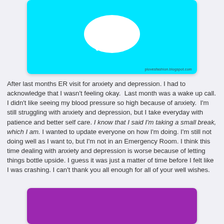[Figure (illustration): A cyan/turquoise colored card with a white speech bubble icon in the center. Watermark text 'plovesfashion.blogspot.com' in the bottom right corner.]
After last months ER visit for anxiety and depression. I had to acknowledge that I wasn't feeling okay.  Last month was a wake up call. I didn't like seeing my blood pressure so high because of anxiety.  I'm still struggling with anxiety and depression, but I take everyday with patience and better self care. I know that I said I'm taking a small break, which I am. I wanted to update everyone on how I'm doing. I'm still not doing well as I want to, but I'm not in an Emergency Room. I think this time dealing with anxiety and depression is worse because of letting things bottle upside. I guess it was just a matter of time before I felt like I was crashing. I can't thank you all enough for all of your well wishes.
[Figure (illustration): A purple/magenta colored card, partially visible at the bottom of the page.]